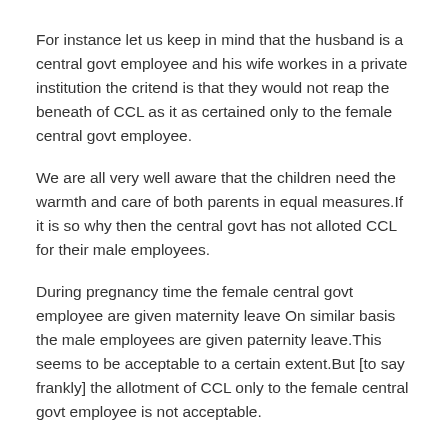For instance let us keep in mind that the husband is a central govt employee and his wife workes in a private institution the critend is that they would not reap the beneath of CCL as it as certained only to the female central govt employee.
We are all very well aware that the children need the warmth and care of both parents in equal measures.If it is so why then the central govt has not alloted CCL for their male employees.
During pregnancy time the female central govt employee are given maternity leave On similar basis the male employees are given paternity leave.This seems to be acceptable to a certain extent.But [to say frankly] the allotment of CCL only to the female central govt employee is not acceptable.
It is the same payment for same work for both the female and male employees in a central govt institution.Similarly the concessions given should be in common for both of them.If a female employee is given two years CCL the male employee also can be given nearly the same if not equal.